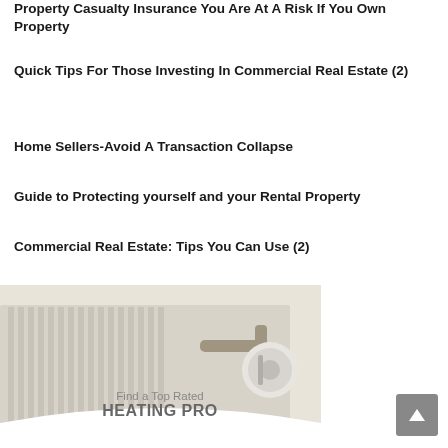Property Casualty Insurance You Are At A Risk If You Own Property
Quick Tips For Those Investing In Commercial Real Estate (2)
Home Sellers-Avoid A Transaction Collapse
Guide to Protecting yourself and your Rental Property
Commercial Real Estate: Tips You Can Use (2)
[Figure (photo): A close-up photo of a home heating radiator panel with a thermostatic valve and pipe fitting, cream/white colored, with a white curved overlay at the bottom containing text.]
Find a Top Rated
HEATING PRO